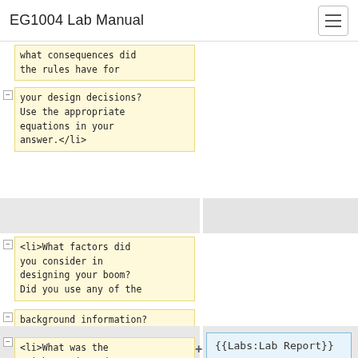EG1004 Lab Manual
what consequences did the rules have for your design decisions? Use the appropriate equations in your answer.</li>
<li>What factors did you consider in designing your boom? Did you use any of the background information? </li>
<li>What was the weight ratio and design ratio for your
{{Labs:Lab Report}}